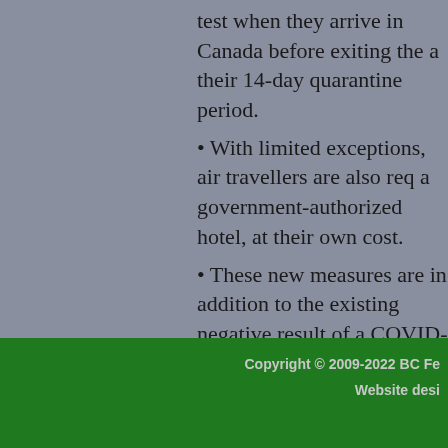test when they arrive in Canada before exiting the a their 14-day quarantine period.
• With limited exceptions, air travellers are also req a government-authorized hotel, at their own cost.
• These new measures are in addition to the existing negative result of a COVID-19 molecular test taken scheduled flight.
For those who must travel, get more information at
The Government of Canada continues to advise Ca non-essential travel, including vacation plans, outsi travel.
Copyright © 2009-2022 BC Fe Website desi